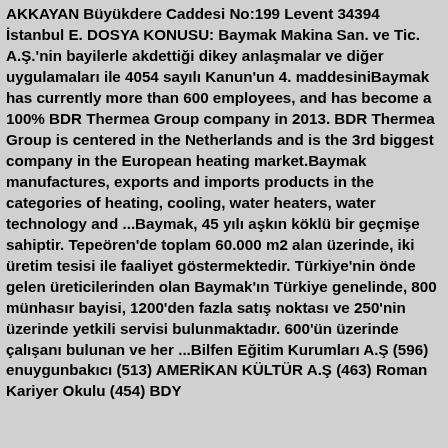AKKAYAN Büyükdere Caddesi No:199 Levent 34394 İstanbul E. DOSYA KONUSU: Baymak Makina San. ve Tic. A.Ş.'nin bayilerle akdettiği dikey anlaşmalar ve diğer uygulamaları ile 4054 sayılı Kanun'un 4. maddesiniBaymak has currently more than 600 employees, and has become a 100% BDR Thermea Group company in 2013. BDR Thermea Group is centered in the Netherlands and is the 3rd biggest company in the European heating market.Baymak manufactures, exports and imports products in the categories of heating, cooling, water heaters, water technology and ...Baymak, 45 yılı aşkın köklü bir geçmişe sahiptir. Tepeören'de toplam 60.000 m2 alan üzerinde, iki üretim tesisi ile faaliyet göstermektedir. Türkiye'nin önde gelen üreticilerinden olan Baymak'ın Türkiye genelinde, 800 münhasır bayisi, 1200'den fazla satış noktası ve 250'nin üzerinde yetkili servisi bulunmaktadır. 600'ün üzerinde çalışanı bulunan ve her ...Bilfen Eğitim Kurumları A.Ş (596) enuygunbakıcı (513) AMERİKAN KÜLTÜR A.Ş (463) Roman Kariyer Okulu (454) BDY